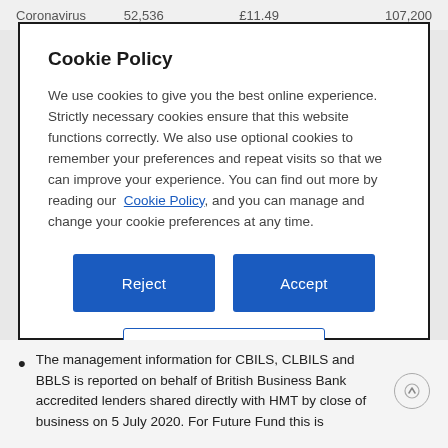Coronavirus   52,536   £11.49   107,200
Cookie Policy
We use cookies to give you the best online experience. Strictly necessary cookies ensure that this website functions correctly. We also use optional cookies to remember your preferences and repeat visits so that we can improve your experience. You can find out more by reading our Cookie Policy, and you can manage and change your cookie preferences at any time.
Reject
Accept
Cookies Settings
The management information for CBILS, CLBILS and BBLS is reported on behalf of British Business Bank accredited lenders shared directly with HMT by close of business on 5 July 2020. For Future Fund this is